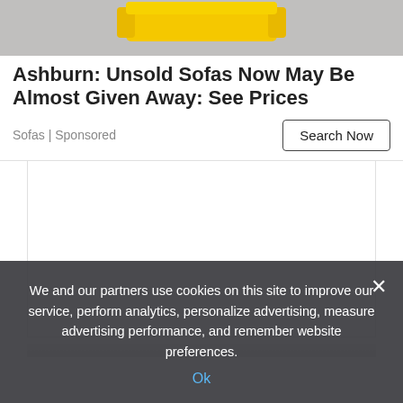[Figure (photo): Top portion of a yellow sofa/couch product image on a gray background]
Ashburn: Unsold Sofas Now May Be Almost Given Away: See Prices
Sofas | Sponsored
Search Now
[Figure (other): White advertisement placeholder box with light gray bottom gradient]
We and our partners use cookies on this site to improve our service, perform analytics, personalize advertising, measure advertising performance, and remember website preferences.
Ok